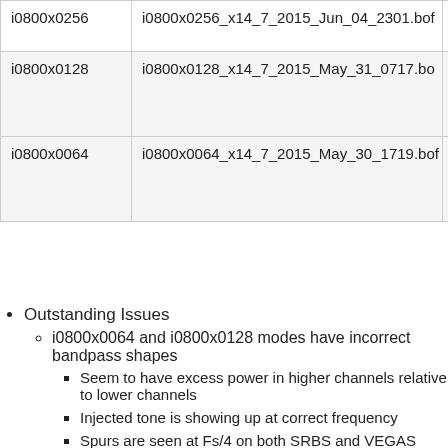|  | Filename | Details |
| --- | --- | --- |
| i0800x0256 | i0800x0256_x14_7_2015_Jun_04_2301.bof | Ne
Bu |
| i0800x0128 | i0800x0128_x14_7_2015_May_31_0717.bo | Inc
Ba
Ne
Bu |
| i0800x0064 | i0800x0064_x14_7_2015_May_30_1719.bof | Inc
Ba
Ne
Bu |
Outstanding Issues
i0800x0064 and i0800x0128 modes have incorrect bandpass shapes
Seem to have excess power in higher channels relative to lower channels
Injected tone is showing up at correct frequency
Spurs are seen at Fs/4 on both SRBS and VEGAS